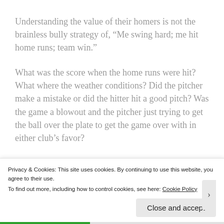Understanding the value of their homers is not the brainless bully strategy of, “Me swing hard; me hit home runs; team win.”
What was the score when the home runs were hit? What where the weather conditions? Did the pitcher make a mistake or did the hitter hit a good pitch? Was the game a blowout and the pitcher just trying to get the ball over the plate to get the game over with in either club’s favor?
Th...
Privacy & Cookies: This site uses cookies. By continuing to use this website, you agree to their use. To find out more, including how to control cookies, see here: Cookie Policy